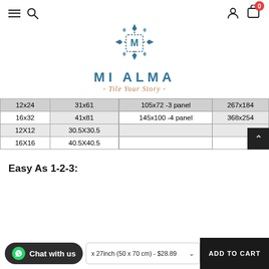[Figure (logo): Mi Alma tile store logo with geometric diamond/cross motif in teal/navy, text MI ALMA in teal block letters, tagline -Tile Your Story- in italic]
| 12x24 | 31x61 | 105x72 -3 panel | 267x184 |
| --- | --- | --- | --- |
| 16x32 | 41x81 | 145x100 -4 panel | 368x254 |
| 12X12 | 30.5X30.5 |  |  |
| 16X16 | 40.5X40.5 |  |  |
Easy As 1-2-3:
x 27inch (50 x 70 cm) - $28.89
ADD TO CART